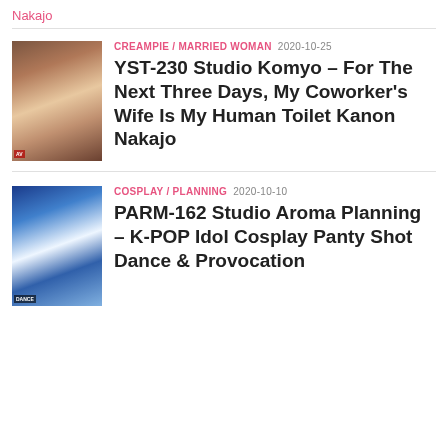Nakajo
CREAMPIE / MARRIED WOMAN 2020-10-25
YST-230 Studio Komyo – For The Next Three Days, My Coworker's Wife Is My Human Toilet Kanon Nakajo
COSPLAY / PLANNING 2020-10-10
PARM-162 Studio Aroma Planning – K-POP Idol Cosplay Panty Shot Dance & Provocation